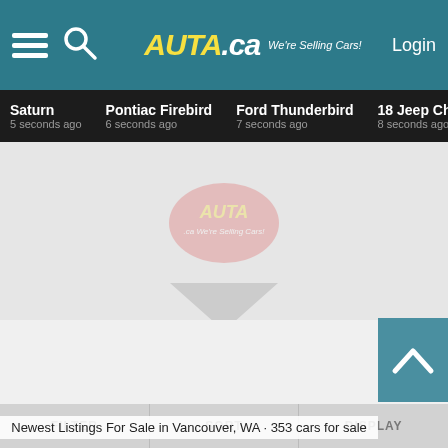AUTA.ca We're Selling Cars! Login
Saturn 5 seconds ago | Pontiac Firebird 6 seconds ago | Ford Thunderbird 7 seconds ago | 18 Jeep Cherokee 8 seconds ago | Pontiac 9 seconds ago
[Figure (logo): Auta.ca watermark logo in center of page]
Newest Listings For Sale in Vancouver, WA · 353 cars for sale
FILTER | SORT | DISPLAY